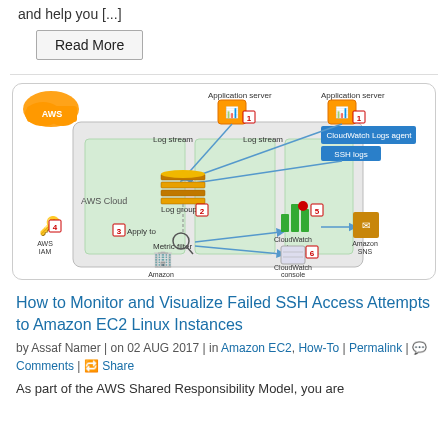and help you [...]
Read More
[Figure (infographic): AWS architecture diagram showing how CloudWatch Logs agent monitors SSH logs on Application servers, streams to Log group, applies Metric filter, triggers CloudWatch alarms (step 5) and CloudWatch console (step 6), sends to Amazon SNS. Steps numbered 1-6. Components include AWS IAM (4), Amazon CloudWatch, CloudWatch Logs agent, SSH logs, Log stream, Log group, Metric filter, CloudWatch alarms, CloudWatch console, Amazon SNS.]
How to Monitor and Visualize Failed SSH Access Attempts to Amazon EC2 Linux Instances
by Assaf Namer | on 02 AUG 2017 | in Amazon EC2, How-To | Permalink | Comments | Share
As part of the AWS Shared Responsibility Model, you are